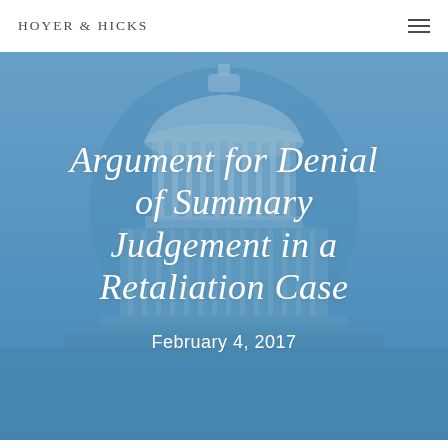HOYER & HICKS
[Figure (illustration): Blue-tinted image of the US Capitol dome used as a hero background for a law firm blog post]
Argument for Denial of Summary Judgement in a Retaliation Case
February 4, 2017